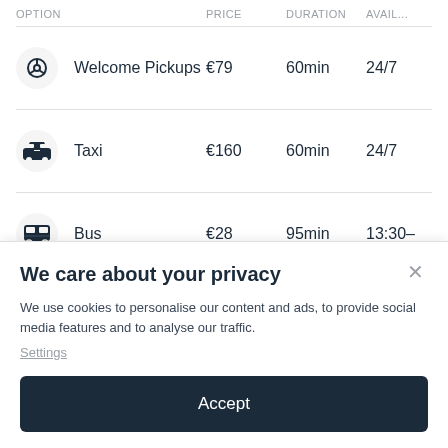| OPTION | PRICE | DURATION | AVAIL... |
| --- | --- | --- | --- |
| Welcome Pickups | €79 | 60min | 24/7 |
| Taxi | €160 | 60min | 24/7 |
| Bus | €28 | 95min | 13:30– |
We care about your privacy
We use cookies to personalise our content and ads, to provide social media features and to analyse our traffic.
Settings
Accept